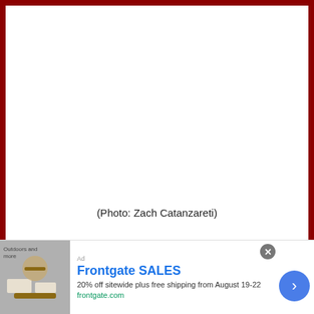[Figure (photo): Large photo area with dark red border on top, left, and right sides. The photo content is not visible (white/blank area).]
(Photo: Zach Catanzareti)
Beside the Rising
[Figure (advertisement): Frontgate SALES advertisement banner. Shows outdoor furniture image, text '20% off sitewide plus free shipping from August 19-22', URL frontgate.com, blue arrow button, and close X button.]